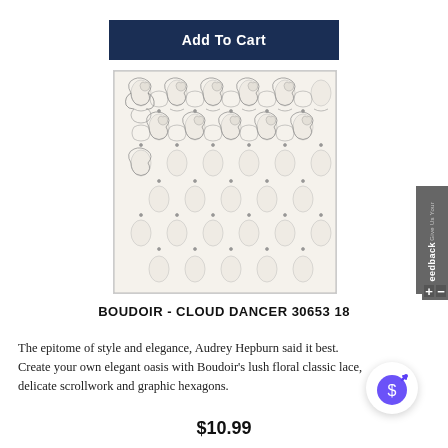Add To Cart
[Figure (illustration): Fabric swatch showing an intricate gray scrollwork and floral lace pattern on a cream/white background, with repeating ornamental motifs including hearts and curling vines]
BOUDOIR - CLOUD DANCER 30653 18
The epitome of style and elegance, Audrey Hepburn said it best. Create your own elegant oasis with Boudoir's lush floral classic lace, delicate scrollwork and graphic hexagons.
$10.99